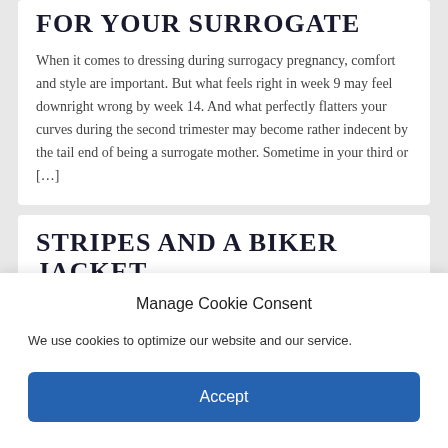FOR YOUR SURROGATE
When it comes to dressing during surrogacy pregnancy, comfort and style are important. But what feels right in week 9 may feel downright wrong by week 14. And what perfectly flatters your curves during the second trimester may become rather indecent by the tail end of being a surrogate mother. Sometime in your third or [...]
STRIPES AND A BIKER JACKET
Manage Cookie Consent
We use cookies to optimize our website and our service.
Accept